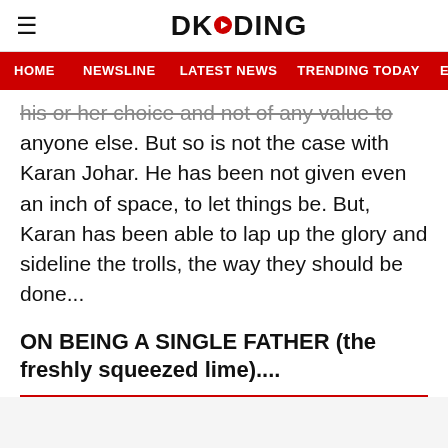DKODING
HOME  NEWSLINE  LATEST NEWS  TRENDING TODAY  ENT
his or her choice and not of any value to anyone else. But so is not the case with Karan Johar. He has been not given even an inch of space, to let things be. But, Karan has been able to lap up the glory and sideline the trolls, the way they should be done...
ON BEING A SINGLE FATHER (the freshly squeezed lime)....